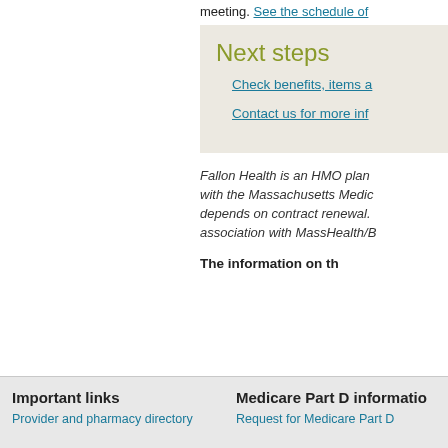meeting. See the schedule of
Next steps
Check benefits, items a
Contact us for more inf
Fallon Health is an HMO plan with the Massachusetts Medic depends on contract renewal. association with MassHealth/B
The information on th
Important links | Medicare Part D informatio
Provider and pharmacy directory
Request for Medicare Part D